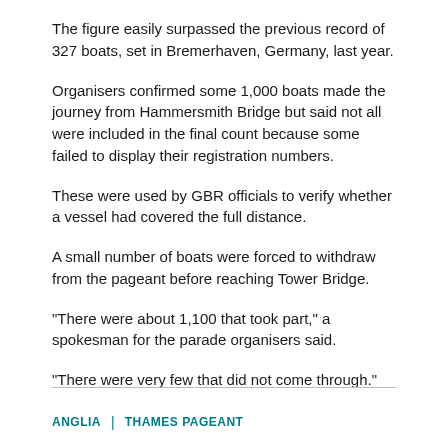The figure easily surpassed the previous record of 327 boats, set in Bremerhaven, Germany, last year.
Organisers confirmed some 1,000 boats made the journey from Hammersmith Bridge but said not all were included in the final count because some failed to display their registration numbers.
These were used by GBR officials to verify whether a vessel had covered the full distance.
A small number of boats were forced to withdraw from the pageant before reaching Tower Bridge.
"There were about 1,100 that took part," a spokesman for the parade organisers said.
"There were very few that did not come through."
ANGLIA | THAMES PAGEANT